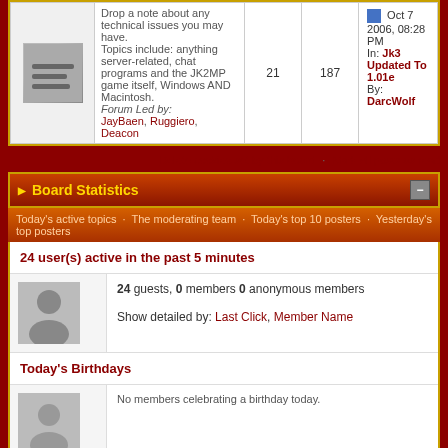|  | Description | Topics | Posts | Last Post |
| --- | --- | --- | --- | --- |
| [icon] | Drop a note about any technical issues you may have.
Topics include: anything server-related, chat programs and the JK2MP game itself, Windows AND Macintosh.
Forum Led by: JayBaen, Ruggiero, Deacon | 21 | 187 | Oct 7 2006, 08:28 PM
In: Jk3 Updated To 1.01e
By: DarcWolf |
Delete cookies set by this board · Mark all posts as read
Board Statistics
Today's active topics · The moderating team · Today's top 10 posters · Yesterday's top posters
24 user(s) active in the past 5 minutes
24 guests, 0 members 0 anonymous members
Show detailed by: Last Click, Member Name
Today's Birthdays